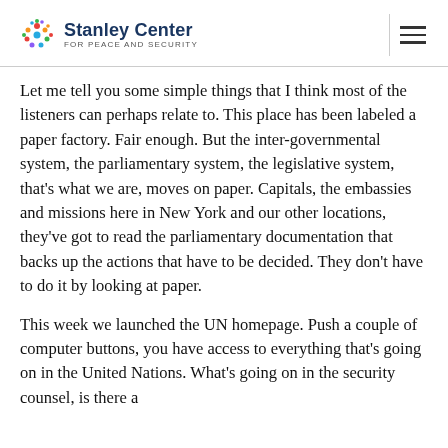Stanley Center FOR PEACE AND SECURITY
Let me tell you some simple things that I think most of the listeners can perhaps relate to. This place has been labeled a paper factory. Fair enough. But the inter-governmental system, the parliamentary system, the legislative system, that's what we are, moves on paper. Capitals, the embassies and missions here in New York and our other locations, they've got to read the parliamentary documentation that backs up the actions that have to be decided. They don't have to do it by looking at paper.
This week we launched the UN homepage. Push a couple of computer buttons, you have access to everything that's going on in the United Nations. What's going on in the security counsel, is there a